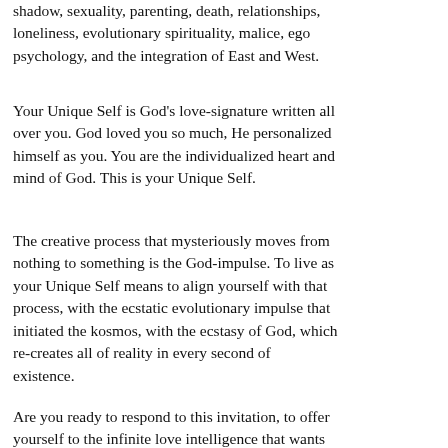shadow, sexuality, parenting, death, relationships, loneliness, evolutionary spirituality, malice, ego psychology, and the integration of East and West.
Your Unique Self is God's love-signature written all over you. God loved you so much, He personalized himself as you. You are the individualized heart and mind of God. This is your Unique Self.
The creative process that mysteriously moves from nothing to something is the God-impulse. To live as your Unique Self means to align yourself with that process, with the ecstatic evolutionary impulse that initiated the kosmos, with the ecstasy of God, which re-creates all of reality in every second of existence.
Are you ready to respond to this invitation, to offer yourself to the infinite love intelligence that wants...